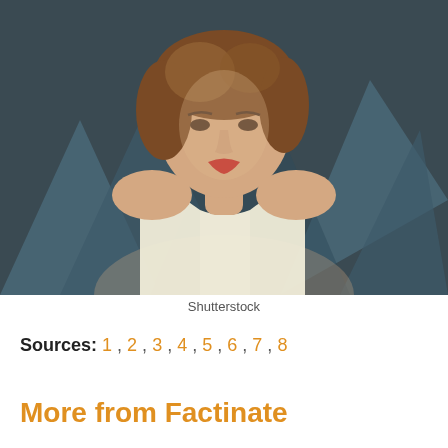[Figure (photo): Woman with short wavy auburn hair wearing a white sleeveless top, posing at an event with a dark background featuring blue triangle patterns (Governors Awards / Academy backdrop)]
Shutterstock
Sources: 1, 2, 3, 4, 5, 6, 7, 8
More from Factinate